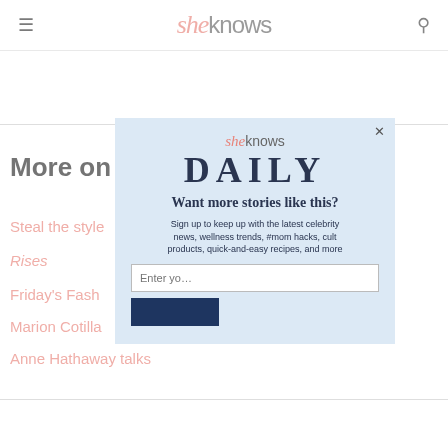sheknows — navigation header with hamburger menu and search icon
More on 's style
Steal the style
Rises
Friday's Fash
Marion Cotilla
Anne Hathaway talks
[Figure (screenshot): SheKnows Daily newsletter signup modal popup overlay with logo, DAILY heading, signup description text, email input field, and subscribe button]